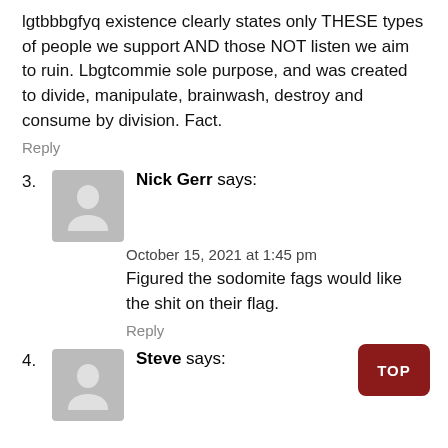lgtbbbgfyq existence clearly states only THESE types of people we support AND those NOT listen we aim to ruin. Lbgtcommie sole purpose, and was created to divide, manipulate, brainwash, destroy and consume by division. Fact.
Reply
3. Nick Gerr says:
October 15, 2021 at 1:45 pm
Figured the sodomite fags would like the shit on their flag.
Reply
4. Steve says: